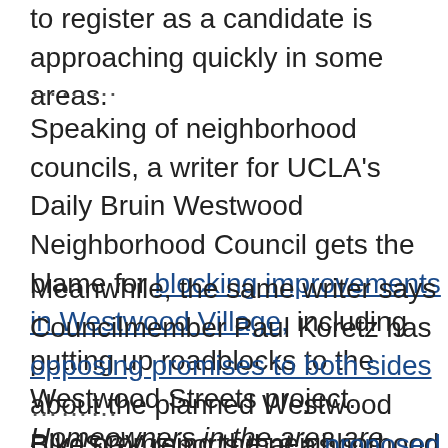to register as a candidate is approaching quickly in some areas.
………
Speaking of neighborhood councils, a writer for UCLA's Daily Bruin Westwood Neighborhood Council gets the blame for blocking improvements in Westwood Village, including putting up roadblocks to the Westwood Streets project. Homeowners in the area are among the city's most and should be held accountable for the decline in the once vibrant dancing is banned at their insistence.
Meanwhile, the same writer says Councilmember Paul Koretz has opposing promises to both sides about the planned Westwood Blvd promising the neighborhood council and homeowner groups he'd k while telling the Sierra Club he supported moving forward with eng Thanks to Michael Cahn for the heads up.
………
BikeSGV reports that a proposed bike park is included in plans for Hills Landfill Park, along with bike and pedestrian access.